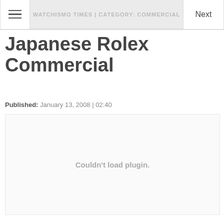WATCHISMO TIMES | CATEGORY: COMMERCIAL
Japanese Rolex Commercial
Published: January 13, 2008 | 02:40
[Figure (other): Embedded video plugin area showing 'Couldn't load plugin.' error message]